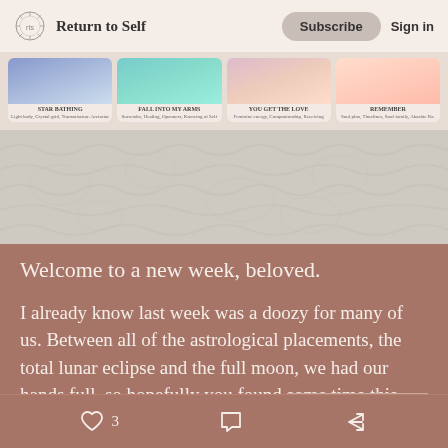Return to Self | Subscribe | Sign in
[Figure (photo): Four tarot/oracle cards face-up on a white fluffy blanket: STAR BATHING, FALL INTO MY ARMS, YOU GET THE LOVE, REMEMBER]
Welcome to a new week, beloved.
I already know last week was a doozy for many of us. Between all of the astrological placements, the total lunar eclipse and the full moon, we had our hands full, so hopefully you found some time this weekend to rest and integrate.
♡ 3  [comment icon]  [share icon]